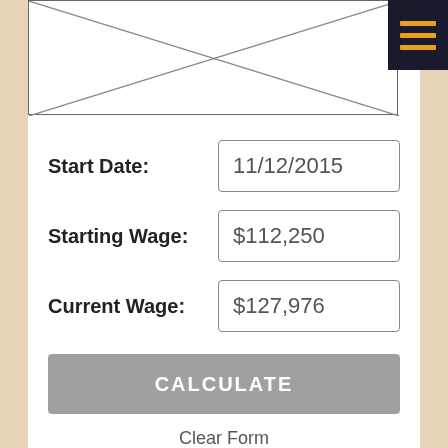[Figure (other): Placeholder image box with diagonal X lines crossing from corner to corner]
Start Date:
11/12/2015
Starting Wage:
$112,250
Current Wage:
$127,976
CALCULATE
Clear Form